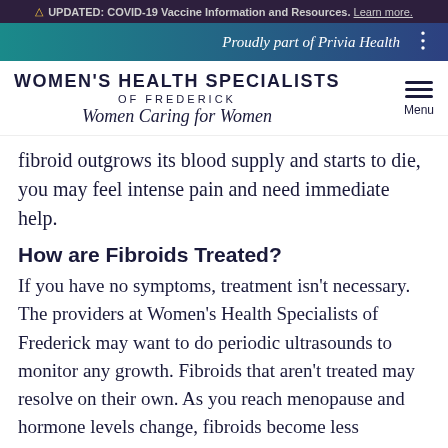⚠ UPDATED: COVID-19 Vaccine Information and Resources. Learn more.
Proudly part of Privia Health
WOMEN'S HEALTH SPECIALISTS OF FREDERICK Women Caring for Women
fibroid outgrows its blood supply and starts to die, you may feel intense pain and need immediate help.
How are Fibroids Treated?
If you have no symptoms, treatment isn't necessary. The providers at Women's Health Specialists of Frederick may want to do periodic ultrasounds to monitor any growth. Fibroids that aren't treated may resolve on their own. As you reach menopause and hormone levels change, fibroids become less symptomatic, too.
If you have painful symptoms, the doctors may recommend certain medications to address issues